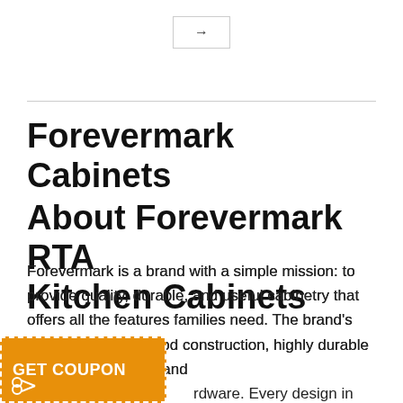→
Forevermark Cabinets
About Forevermark RTA Kitchen Cabinets
Forevermark is a brand with a simple mission: to provide quality, durable, and useful cabinetry that offers all the features families need. The brand's products feature wood construction, highly durable paints and finishes, and hardware. Every design in the brand's style, making Forevermark cabinets